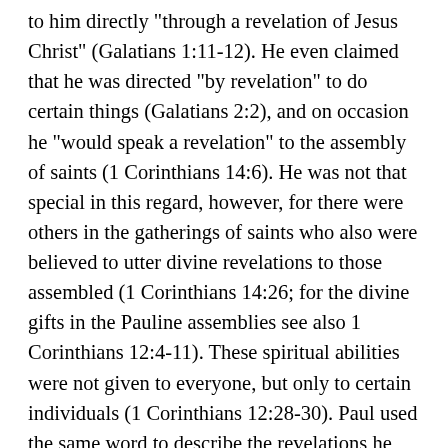to him directly "through a revelation of Jesus Christ" (Galatians 1:11-12).  He even claimed that he was directed "by revelation" to do certain things (Galatians 2:2), and on occasion he "would speak a revelation" to the assembly of saints (1 Corinthians 14:6).  He was not that special in this regard, however, for there were others in the gatherings of saints who also were believed to utter divine revelations to those assembled (1 Corinthians 14:26; for the divine gifts in the Pauline assemblies see also 1 Corinthians 12:4-11).  These spiritual abilities were not given to everyone, but only to certain individuals (1 Corinthians 12:28-30).  Paul used the same word to describe the revelations he received from the deity as the word he used to describe the authoritative prophetic writings of the Jewish Scriptures (Romans 16:25-27).  In other words his revelations were as authoritative as the Scriptures.